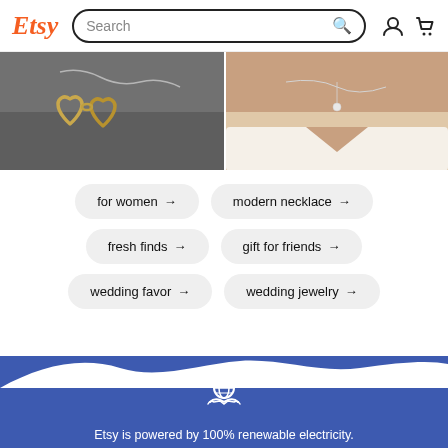Etsy | Search
[Figure (photo): Left: Gold double-heart outline necklace on grey background. Right: Person wearing a delicate silver necklace with small diamond pendant on bare neckline.]
for women →
modern necklace →
fresh finds →
gift for friends →
wedding favor →
wedding jewelry →
Etsy is powered by 100% renewable electricity.